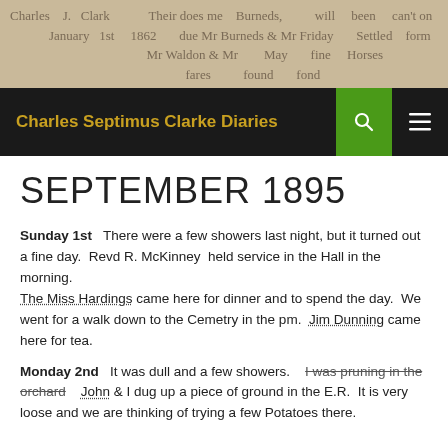[Figure (photo): Scanned handwritten diary page background image showing cursive script from Charles S. Clarke, January 1st 1862]
Charles Septimus Clarke Diaries
SEPTEMBER 1895
Sunday 1st   There were a few showers last night, but it turned out a fine day.  Revd R. McKinney  held service in the Hall in the morning.
The Miss Hardings came here for dinner and to spend the day.  We went for a walk down to the Cemetry in the pm.  Jim Dunning came here for tea.
Monday 2nd   It was dull and a few showers.   I was pruning in the orchard   John & I dug up a piece of ground in the E.R.  It is very loose and we are thinking of trying a few Potatoes there.